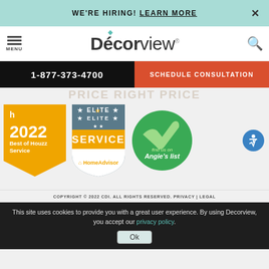WE'RE HIRING! LEARN MORE
[Figure (logo): Decorview logo with diamond accent]
1-877-373-4700
SCHEDULE CONSULTATION
[Figure (infographic): Award badges: 2022 Best of Houzz Service (yellow), HomeAdvisor Elite Service badge (gray/orange), Angie's List badge (green circle), and blue accessibility icon]
COPYRIGHT © 2022 CDI. ALL RIGHTS RESERVED. PRIVACY | LEGAL
This site uses cookies to provide you with a great user experience. By using Decorview, you accept our privacy policy.
Ok